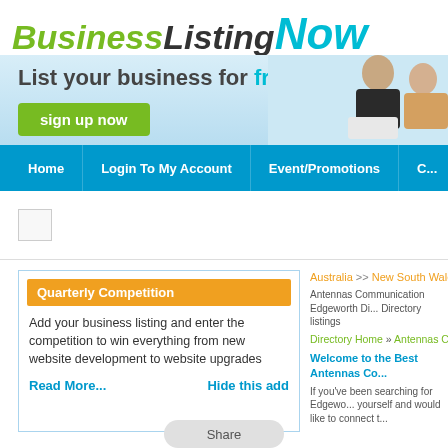[Figure (screenshot): BusinessListingNow website screenshot showing logo, banner with 'List your business for free!' tagline and 'sign up now' button, navigation bar with Home, Login To My Account, Event/Promotions links, a quarterly competition box, breadcrumb navigation, and directory listing welcome text.]
BusinessListingNow
List your business for free!
sign up now
Home
Login To My Account
Event/Promotions
Quarterly Competition
Add your business listing and enter the competition to win everything from new website development to website upgrades
Read More...
Hide this add
Australia >> New South Wales >> Hunt...
Antennas Communication Edgeworth Directory listings
Directory Home » Antennas Commu...
Welcome to the Best Antennas Co...
If you've been searching for Edgewo... yourself and would like to connect t...
Share